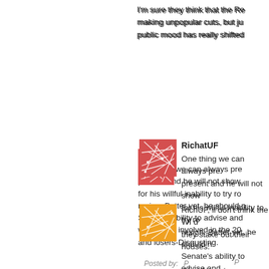I'm sure they think that the Re making unpopular cuts, but ju public mood has really shifted
[Figure (illustration): Red abstract network/web pattern avatar icon]
RichatUF
One thing we can always pre present and he will not show for his willful inability to try ro resign. Better yet, he should n Senate's ability to advise and was totally involved in the 20 and losers-Disgusting.
Posted by:
[Figure (illustration): Orange abstract network/web pattern avatar icon]
RichUF, il don't think the WI d they stake out their houses.

Would love to see some loca
Posted by: